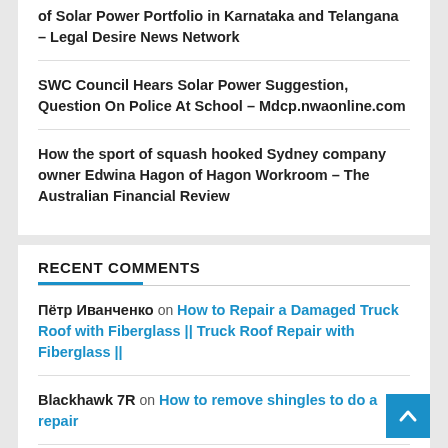of Solar Power Portfolio in Karnataka and Telangana – Legal Desire News Network
SWC Council Hears Solar Power Suggestion, Question On Police At School – Mdcp.nwaonline.com
How the sport of squash hooked Sydney company owner Edwina Hagon of Hagon Workroom – The Australian Financial Review
RECENT COMMENTS
Пётр Иванченко on How to Repair a Damaged Truck Roof with Fiberglass || Truck Roof Repair with Fiberglass ||
Blackhawk 7R on How to remove shingles to do a repair